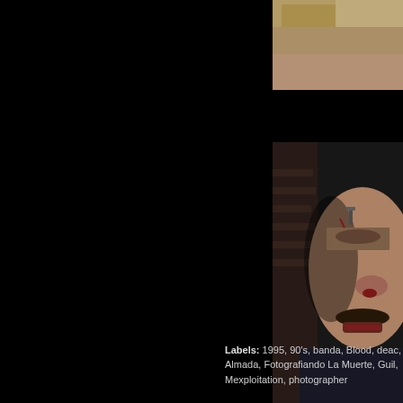[Figure (photo): Partial view of a woman with blonde hair lying down, photo cropped at top-right of page]
[Figure (photo): Close-up of a man's face with a mustache, showing injuries including blood near nose and cuts, against a brick wall background]
Labels: 1995, 90's, banda, Blood, dead, Almada, Fotografiando La Muerte, Guil, Mexploitation, photographer